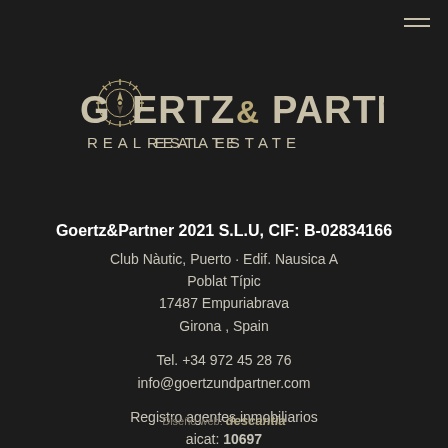[Figure (logo): Goertz & Partner Real Estate logo with sun/compass emblem in gold/tan on dark background]
Goertz&Partner 2021 S.L.U, CIF: B-02834166
Club Nàutic, Puerto · Edif. Nausica A
Poblat Típic
17487 Empuriabrava
Girona , Spain

Tel. +34 972 45 28 76
info@goertzundpartner.com

Registro agentes inmobiliarios
aicat: 10697
Diseño web: descantia